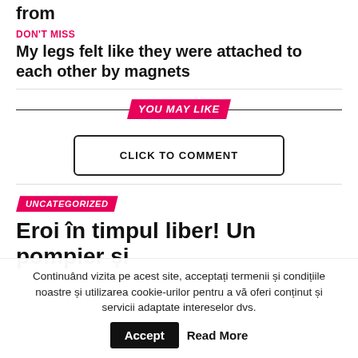from
DON'T MISS
My legs felt like they were attached to each other by magnets
YOU MAY LIKE
CLICK TO COMMENT
UNCATEGORIZED
Eroi în timpul liber! Un pompier si
Continuând vizita pe acest site, acceptați termenii și condițiile noastre și utilizarea cookie-urilor pentru a vă oferi conținut și servicii adaptate intereselor dvs.
Accept
Read More